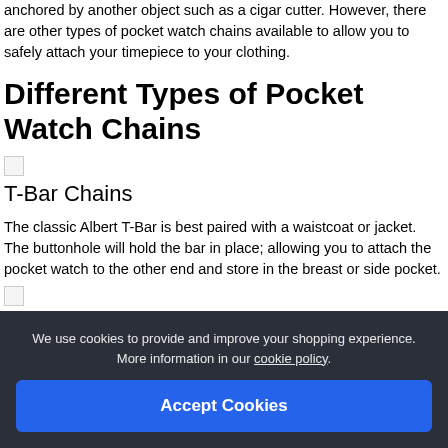anchored by another object such as a cigar cutter. However, there are other types of pocket watch chains available to allow you to safely attach your timepiece to your clothing.
Different Types of Pocket Watch Chains
[Figure (illustration): Small broken image icon placeholder]
T-Bar Chains
The classic Albert T-Bar is best paired with a waistcoat or jacket. The buttonhole will hold the bar in place; allowing you to attach the pocket watch to the other end and store in the breast or side pocket.
[Figure (illustration): Small broken image icon placeholder]
B...
Y... it... a... classic look.
We use cookies to provide and improve your shopping experience. More information in our cookie policy.